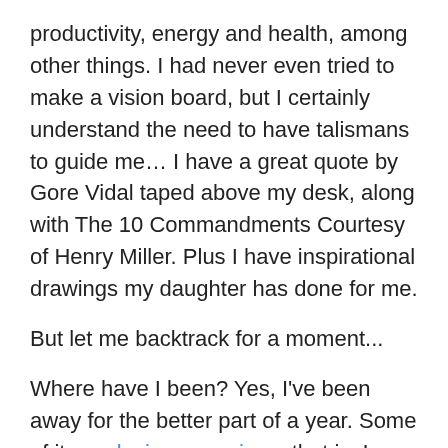productivity, energy and health, among other things. I had never even tried to make a vision board, but I certainly understand the need to have talismans to guide me… I have a great quote by Gore Vidal taped above my desk, along with The 10 Commandments Courtesy of Henry Miller. Plus I have inspirational drawings my daughter has done for me.
But let me backtrack for a moment...
Where have I been? Yes, I've been away for the better part of a year. Some of it was losing my voice – that is, I didn't feel I had anything to share with a world that has gotten a lot angrier and more disenfranchised – but I also decided that the best use of my energy since the 2016 election was to work on myself. In essence, I let go of so much that I couldn't control in an attempt to address those